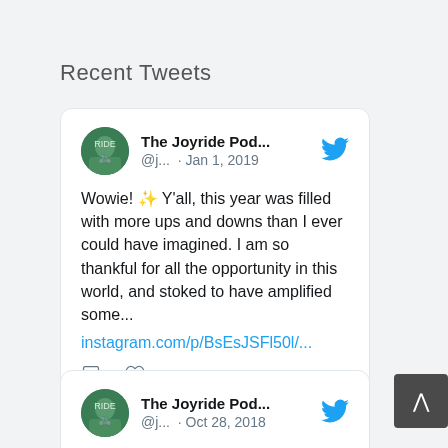Recent Tweets
[Figure (screenshot): Tweet card from The Joyride Pod... @j... · Jan 1, 2019. Text: Wowie! ✨ Y'all, this year was filled with more ups and downs than I ever could have imagined. I am so thankful for all the opportunity in this world, and stoked to have amplified some... instagram.com/p/BsEsJSFl50l/... With 0 comments and 2 likes.]
[Figure (screenshot): Tweet card from The Joyride Pod... @j... · Oct 28, 2018. Text: We've been a little busy :)]